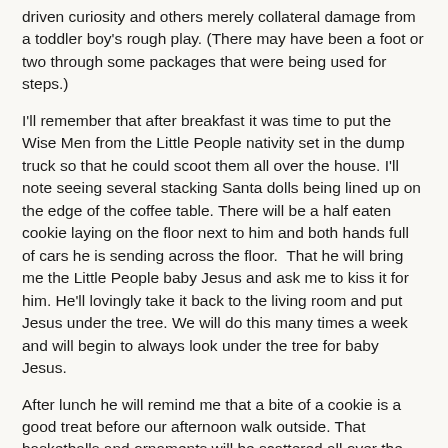driven curiosity and others merely collateral damage from a toddler boy's rough play. (There may have been a foot or two through some packages that were being used for steps.)
I'll remember that after breakfast it was time to put the Wise Men from the Little People nativity set in the dump truck so that he could scoot them all over the house. I'll note seeing several stacking Santa dolls being lined up on the edge of the coffee table. There will be a half eaten cookie laying on the floor next to him and both hands full of cars he is sending across the floor.  That he will bring me the Little People baby Jesus and ask me to kiss it for him. He'll lovingly take it back to the living room and put Jesus under the tree. We will do this many times a week and will begin to always look under the tree for baby Jesus.
After lunch he will remind me that a bite of a cookie is a good treat before our afternoon walk outside. That basketballs and ornaments will be scattered all over the kitchen while I prepare supper. As the sun has set and the end of supper closes in we will remember how Damien loved to watch the Advent candles. From his high chair he watch the flames flicker and listen as our conversations whirl around the room, between his bites he'd pause and blow as hard as he could to get those candles snuffed out. As the days turned into weeks we began to see he was ready to have a turn just like the big kids. I'll remember how in his first tiny puffs would almost be enough to snuff a candle and eventually was able to snuff the